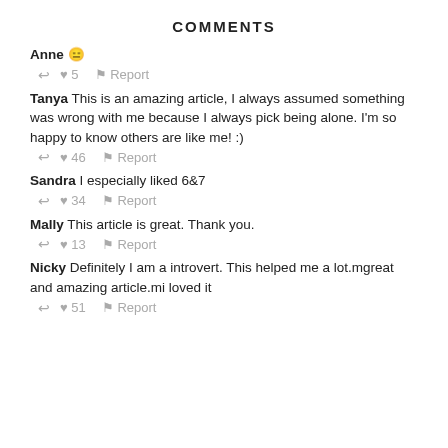COMMENTS
Anne 😌
↩ ♥ 5 ⚑ Report
Tanya This is an amazing article, I always assumed something was wrong with me because I always pick being alone. I'm so happy to know others are like me! :)
↩ ♥ 46 ⚑ Report
Sandra I especially liked 6&7
↩ ♥ 34 ⚑ Report
Mally This article is great. Thank you.
↩ ♥ 13 ⚑ Report
Nicky Definitely I am a introvert. This helped me a lot.mgreat and amazing article.mi loved it
↩ ♥ 51 ⚑ Report